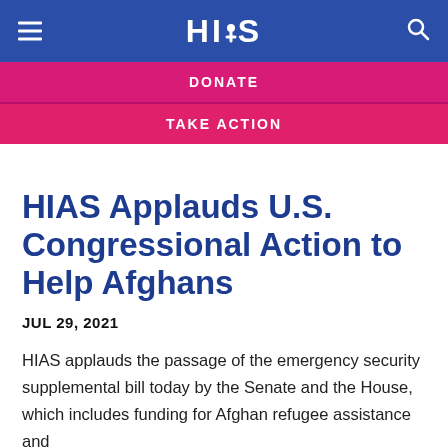HIAS
DONATE
TAKE ACTION
HIAS Applauds U.S. Congressional Action to Help Afghans
JUL 29, 2021
HIAS applauds the passage of the emergency security supplemental bill today by the Senate and the House, which includes funding for Afghan refugee assistance and